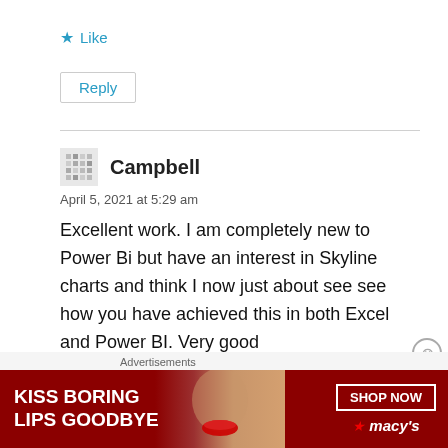★ Like
Reply
Campbell
April 5, 2021 at 5:29 am
Excellent work. I am completely new to Power Bi but have an interest in Skyline charts and think I now just about see see how you have achieved this in both Excel and Power BI. Very good
[Figure (illustration): Advertisement banner: KISS BORING LIPS GOODBYE with SHOP NOW button and Macy's logo]
Advertisements